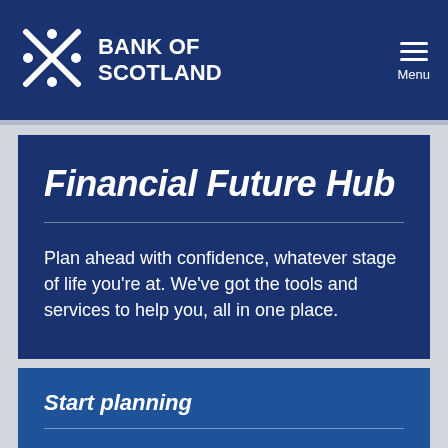BANK OF SCOTLAND
Financial Future Hub
Plan ahead with confidence, whatever stage of life you're at. We've got the tools and services to help you, all in one place.
Start planning